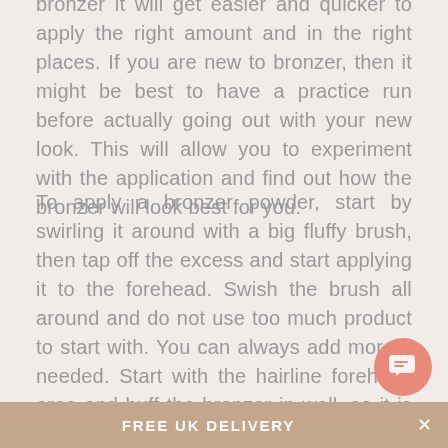bronzer it will get easier and quicker to apply the right amount and in the right places. If you are new to bronzer, then it might be best to have a practice run before actually going out with your new look. This will allow you to experiment with the application and find out how the bronzer will look best for you.
To apply a bronzer powder, start by swirling it around with a big fluffy brush, then tap off the excess and start applying it to the forehead. Swish the brush all around and do not use too much product to start with. You can always add more if needed. Start with the hairline forehead area and buff the bronzer in well, so it is half on your forehead and also going into the hair line. The key is to buff the product in really well, so that it is perfectly blended and natural looking. Then apply bronzer to the cheek area and buff well, plus sweep some on the bridge of the nose. This
FREE UK DELIVERY